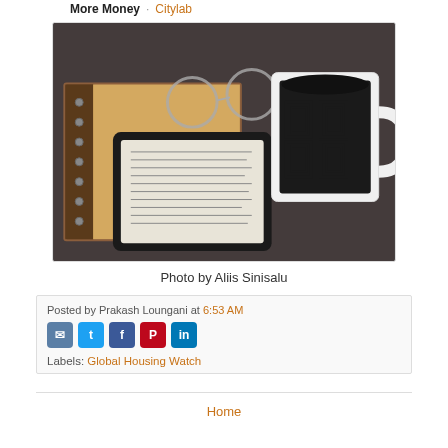More Money · Citylab
[Figure (photo): A Kindle e-reader displaying text, placed on a dark fabric surface alongside a decorative mug with black and white geometric pattern, a spiral notebook, reading glasses, and what appears to be fruit/snacks in the background.]
Photo by Aliis Sinisalu
Posted by Prakash Loungani at 6:53 AM
Labels: Global Housing Watch